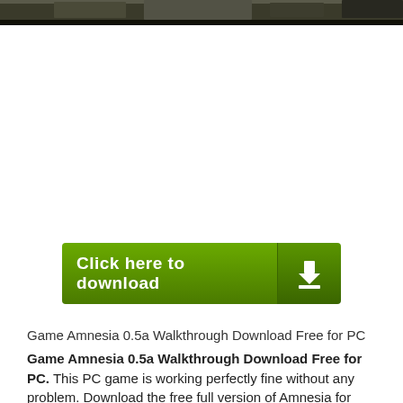[Figure (photo): Top banner image, dark/nature scene cropped at top of page]
[Figure (infographic): Green download button with text 'Click here to download' and a download icon on the right side]
Game Amnesia 0.5a Walkthrough Download Free for PC Game Amnesia 0.5a Walkthrough Download Free for PC. This PC game is working perfectly fine without any problem. Download the free full version of Amnesia for